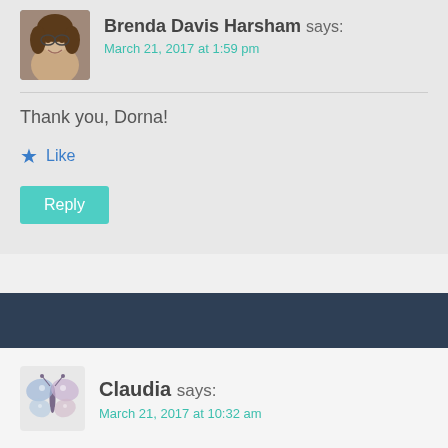Brenda Davis Harsham says:
March 21, 2017 at 1:59 pm
Thank you, Dorna!
Like
Reply
Claudia says:
March 21, 2017 at 10:32 am
Happy Poetry Day! Think I might peruse through the